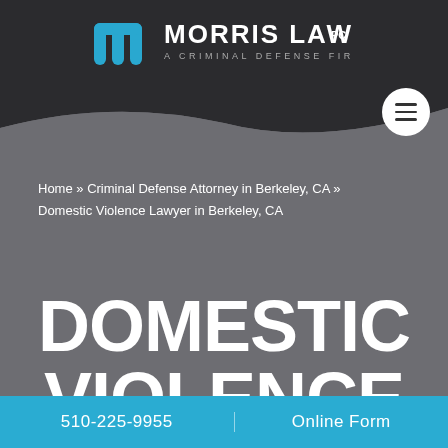[Figure (logo): Morris Law PC logo with blue stylized M icon and text 'MORRIS LAW PC - A CRIMINAL DEFENSE FIRM' on dark background]
Home » Criminal Defense Attorney in Berkeley, CA » Domestic Violence Lawyer in Berkeley, CA
DOMESTIC VIOLENCE LAWYER IN
510-225-9955    Online Form